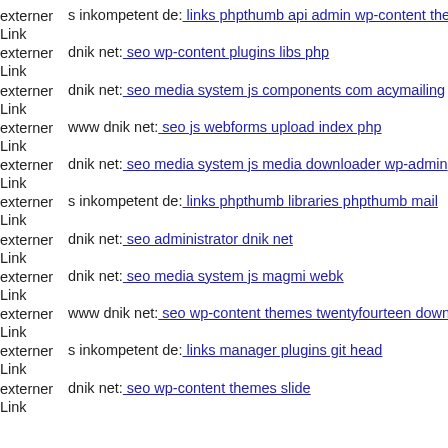externer Link s inkompetent de: links phpthumb api admin wp-content the
externer Link dnik net: seo wp-content plugins libs php
externer Link dnik net: seo media system js components com acymailing
externer Link www dnik net: seo js webforms upload index php
externer Link dnik net: seo media system js media downloader wp-admin
externer Link s inkompetent de: links phpthumb libraries phpthumb mail
externer Link dnik net: seo administrator dnik net
externer Link dnik net: seo media system js magmi webk
externer Link www dnik net: seo wp-content themes twentyfourteen down
externer Link s inkompetent de: links manager plugins git head
externer Link dnik net: seo wp-content themes slide